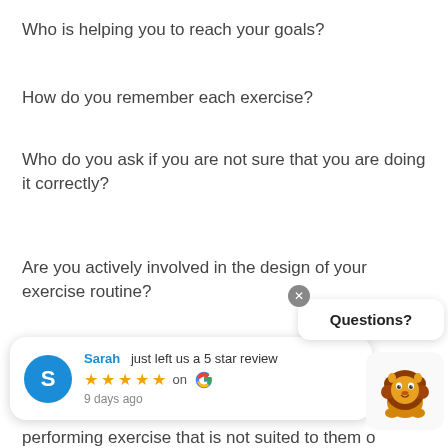Who is helping you to reach your goals?
How do you remember each exercise?
Who do you ask if you are not sure that you are doing it correctly?
Are you actively involved in the design of your exercise routine?
Providing answers to these questions is es... nal state of... ake of... to them o...
[Figure (infographic): Google review popup: Sarah just left us a 5 star review on Google, 9 days ago]
[Figure (infographic): Questions? chat bubble with close button]
[Figure (illustration): Lion mascot cartoon image]